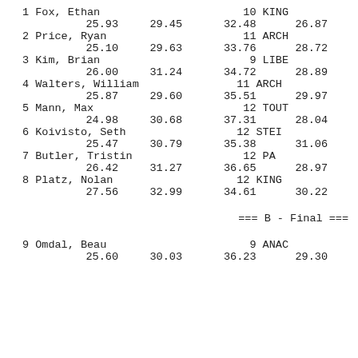| Place | Name | Age | Team | T1 | T2 | T3 | T4 |
| --- | --- | --- | --- | --- | --- | --- | --- |
| 1 | Fox, Ethan | 10 | KING | 25.93 | 29.45 | 32.48 | 26.87 |
| 2 | Price, Ryan | 11 | ARCH | 25.10 | 29.63 | 33.76 | 28.72 |
| 3 | Kim, Brian | 9 | LIBE | 26.00 | 31.24 | 34.72 | 28.89 |
| 4 | Walters, William | 11 | ARCH | 25.87 | 29.60 | 35.51 | 29.97 |
| 5 | Mann, Max | 12 | TOUT | 24.98 | 30.68 | 37.31 | 28.04 |
| 6 | Koivisto, Seth | 12 | STEI | 25.47 | 30.79 | 35.38 | 31.06 |
| 7 | Butler, Tristin | 12 | PA | 26.42 | 31.27 | 36.65 | 28.97 |
| 8 | Platz, Nolan | 12 | KING | 27.56 | 32.99 | 34.61 | 30.22 |
| 9 | Omdal, Beau | 9 | ANAC | 25.60 | 30.03 | 36.23 | 29.30 |
=== B - Final ===